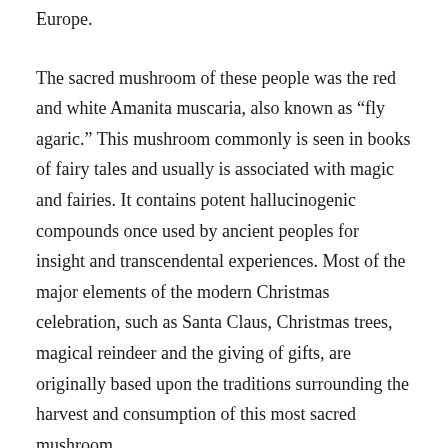Europe.
The sacred mushroom of these people was the red and white Amanita muscaria, also known as “fly agaric.” This mushroom commonly is seen in books of fairy tales and usually is associated with magic and fairies. It contains potent hallucinogenic compounds once used by ancient peoples for insight and transcendental experiences. Most of the major elements of the modern Christmas celebration, such as Santa Claus, Christmas trees, magical reindeer and the giving of gifts, are originally based upon the traditions surrounding the harvest and consumption of this most sacred mushroom.
The World Tree
Ancient peoples, including the Lapps of modern-day Finland, and the Koyak tribes of the central Russian steppes, believed in the idea of a World Tree. The World Tree was seen as a